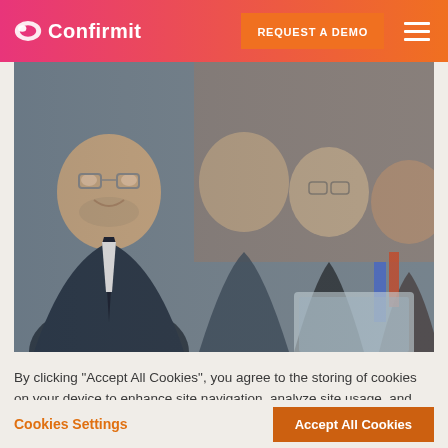Confirmit — REQUEST A DEMO
[Figure (photo): Four business professionals sitting at a meeting table, smiling and engaged in conversation. A man with glasses is in the foreground, with two other men and a woman visible in the background.]
By clicking "Accept All Cookies", you agree to the storing of cookies on your device to enhance site navigation, analyze site usage, and assist in our marketing efforts.
Cookies Settings
Accept All Cookies